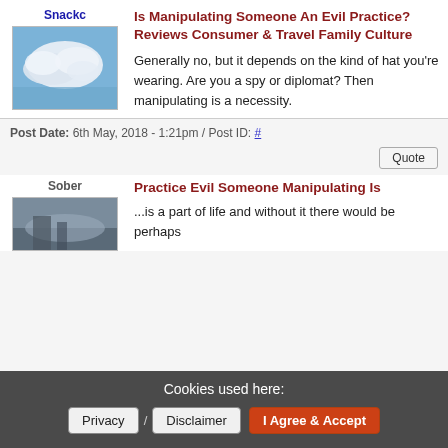Snackc
[Figure (photo): Avatar image showing blue sky with white clouds]
Is Manipulating Someone An Evil Practice? Reviews Consumer & Travel Family Culture
Generally no, but it depends on the kind of hat you're wearing. Are you a spy or diplomat? Then manipulating is a necessity.
Post Date: 6th May, 2018 - 1:21pm / Post ID: #
Quote
Sober
[Figure (photo): Avatar image showing dark outdoor scene]
Practice Evil Someone Manipulating Is
...is a part of life and without it there would be perhaps
Cookies used here:
Privacy / Disclaimer / I Agree & Accept